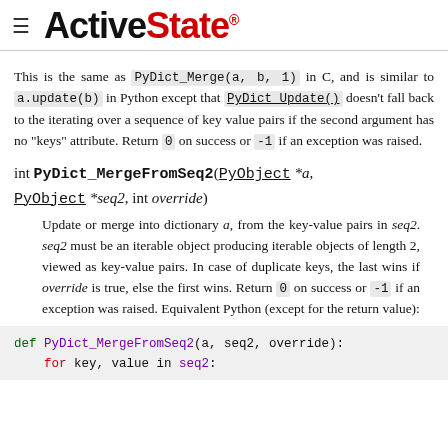ActiveState
This is the same as PyDict_Merge(a, b, 1) in C, and is similar to a.update(b) in Python except that PyDict_Update() doesn't fall back to the iterating over a sequence of key value pairs if the second argument has no "keys" attribute. Return 0 on success or -1 if an exception was raised.
int PyDict_MergeFromSeq2(PyObject *a, PyObject *seq2, int override)
Update or merge into dictionary a, from the key-value pairs in seq2. seq2 must be an iterable object producing iterable objects of length 2, viewed as key-value pairs. In case of duplicate keys, the last wins if override is true, else the first wins. Return 0 on success or -1 if an exception was raised. Equivalent Python (except for the return value):
def PyDict_MergeFromSeq2(a, seq2, override):
    for key, value in seq2: